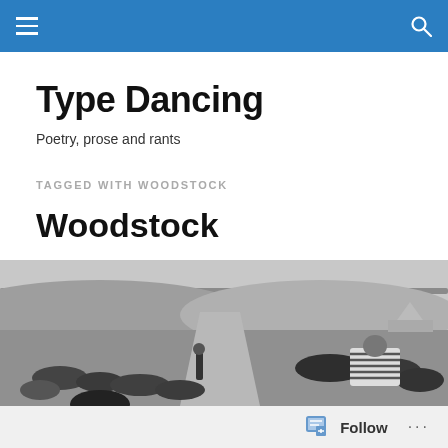Type Dancing — navigation bar with hamburger menu and search icon
Type Dancing
Poetry, prose and rants
TAGGED WITH WOODSTOCK
Woodstock
[Figure (photo): Black and white photograph of a large outdoor crowd at a festival, viewed from behind, with fields, trees, and structures visible in the background — the Woodstock music festival.]
Follow ···